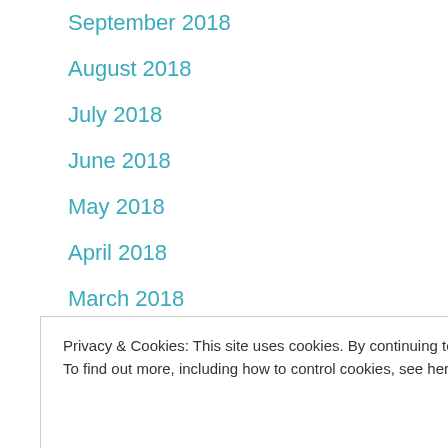September 2018
August 2018
July 2018
June 2018
May 2018
April 2018
March 2018
February 2018
January 2018
December 2017
Privacy & Cookies: This site uses cookies. By continuing to use this website, you agree to their use.
To find out more, including how to control cookies, see here: Cookie Policy
August 2017